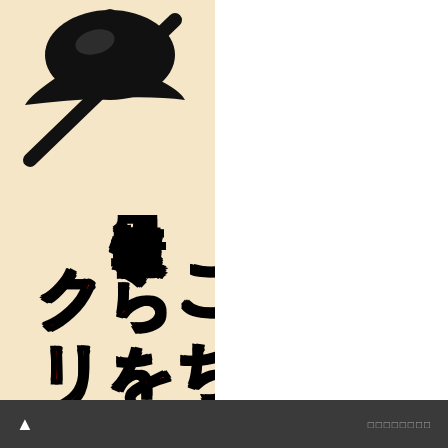[Figure (illustration): Vertical banner/sign with beige background. Top shows a black cartoon baseball cap and bat icon. Yellow text reads '目次情報は' written vertically, and red text reads 'こちらをクリ' written vertically. Right half of page is white.]
▲  □□□□□□□□